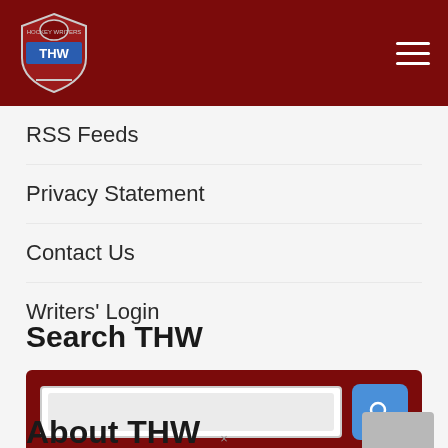THW logo and navigation header
RSS Feeds
Privacy Statement
Contact Us
Writers' Login
Search THW
[Figure (screenshot): Search bar with text input field and blue search button, inside a dark red container]
About THW